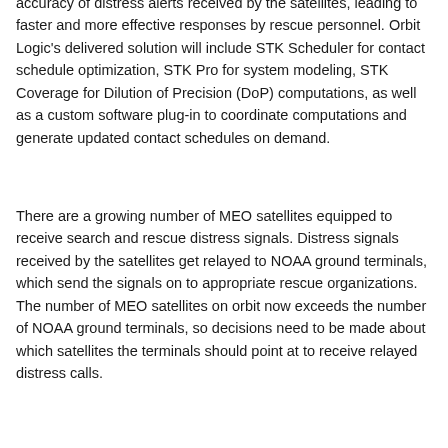accuracy of distress alerts received by the satellites, leading to faster and more effective responses by rescue personnel. Orbit Logic's delivered solution will include STK Scheduler for contact schedule optimization, STK Pro for system modeling, STK Coverage for Dilution of Precision (DoP) computations, as well as a custom software plug-in to coordinate computations and generate updated contact schedules on demand.
There are a growing number of MEO satellites equipped to receive search and rescue distress signals. Distress signals received by the satellites get relayed to NOAA ground terminals, which send the signals on to appropriate rescue organizations. The number of MEO satellites on orbit now exceeds the number of NOAA ground terminals, so decisions need to be made about which satellites the terminals should point at to receive relayed distress calls.